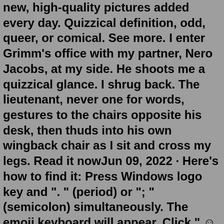new, high-quality pictures added every day. Quizzical definition, odd, queer, or comical. See more. I enter Grimm's office with my partner, Nero Jacobs, at my side. He shoots me a quizzical glance. I shrug back. The lieutenant, never one for words, gestures to the chairs opposite his desk, then thuds into his own wingback chair as I sit and cross my legs. Read it nowJun 09, 2022 · Here's how to find it: Press Windows logo key and ". " (period) or "; " (semicolon) simultaneously. The emoji keyboard will appear. Click " ☺ " kaomoji icon located on the top bar of the emoji window. Choose " ☺ " emoticon from the bottom row. Scroll to the bottom of the list to find the shruggie. "Well, let's go then," I said with a shrug and Kenzi nodded in agreement. Hunter leaned back in his seat, moving his hand onto my thigh under the table. He started to move it higher until I grabbed his wrist, stopping it moving under the fabric of my shorts. "Not here." Hunter just smirked at my hushed tone, looking around the table at the others.Jul 02, 2019 · Dusty Grey Bouquet Box. 1. Dyeworks Black: